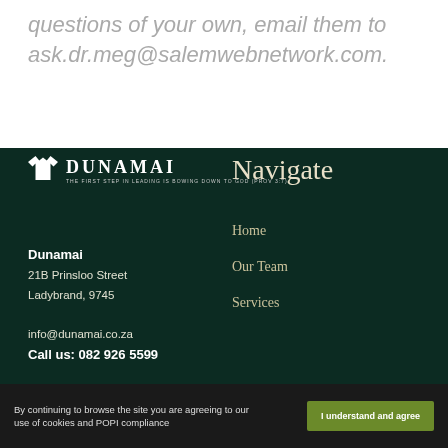questions of your own, email them to ask.dr.meg@salemwebnetwork.com.
[Figure (logo): Dunamai logo with shirt icon and tagline: THE FIRST STEP IN LEADING IS BOWING DOWN TO GOD (PROV 3:7)]
Dunamai
21B Prinsloo Street
Ladybrand, 9745
info@dunamai.co.za
Call us: 082 926 5599
Navigate
Home
Our Team
Services
By continuing to browse the site you are agreeing to our use of cookies and POPI compliance
I understand and agree